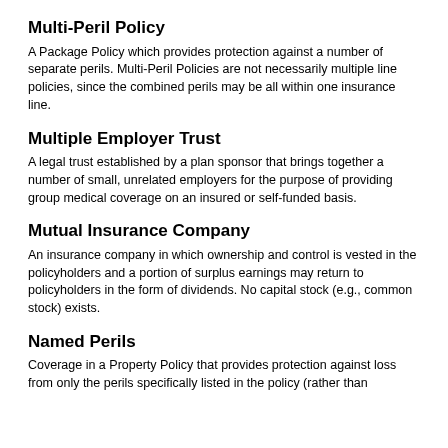Multi-Peril Policy
A Package Policy which provides protection against a number of separate perils. Multi-Peril Policies are not necessarily multiple line policies, since the combined perils may be all within one insurance line.
Multiple Employer Trust
A legal trust established by a plan sponsor that brings together a number of small, unrelated employers for the purpose of providing group medical coverage on an insured or self-funded basis.
Mutual Insurance Company
An insurance company in which ownership and control is vested in the policyholders and a portion of surplus earnings may return to policyholders in the form of dividends. No capital stock (e.g., common stock) exists.
Named Perils
Coverage in a Property Policy that provides protection against loss from only the perils specifically listed in the policy (rather than